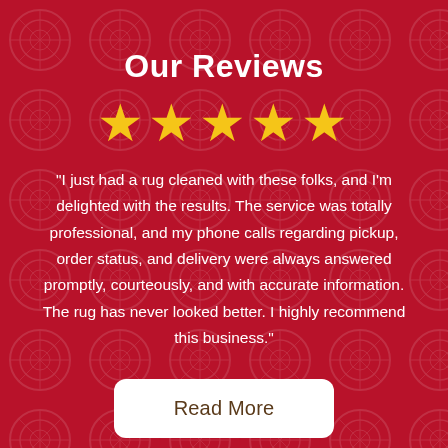Our Reviews
[Figure (infographic): Five gold star rating icons displayed in a row]
"I just had a rug cleaned with these folks, and I'm delighted with the results. The service was totally professional, and my phone calls regarding pickup, order status, and delivery were always answered promptly, courteously, and with accurate information. The rug has never looked better. I highly recommend this business."
Read More